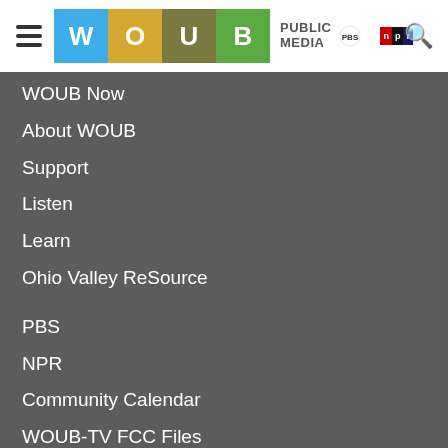WOUB Public Media — PBS NPR navigation header
WOUB Now
About WOUB
Support
Listen
Learn
Ohio Valley ReSource
PBS
NPR
Community Calendar
WOUB-TV FCC Files
WOUC-TV FCC Files
WOUB-AM FCC Files
WOUB-FM FCC Files
WOUC-FM FCC Files